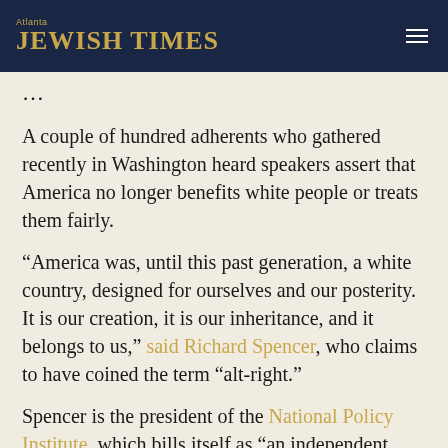Atlanta Jewish Times
A couple of hundred adherents who gathered recently in Washington heard speakers assert that America no longer benefits white people or treats them fairly.
“America was, until this past generation, a white country, designed for ourselves and our posterity. It is our creation, it is our inheritance, and it belongs to us,” said Richard Spencer, who claims to have coined the term “alt-right.”
Spencer is the president of the National Policy Institute, which bills itself as “an independent organization dedicated to the heritage, identity, and